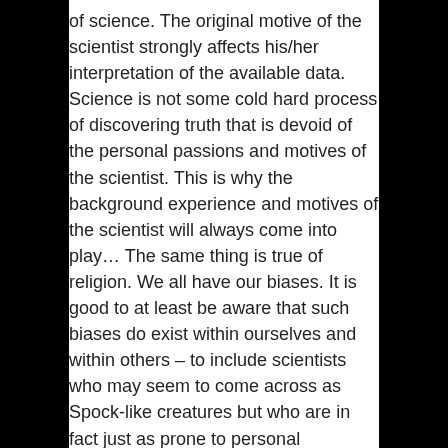of science. The original motive of the scientist strongly affects his/her interpretation of the available data. Science is not some cold hard process of discovering truth that is devoid of the personal passions and motives of the scientist. This is why the background experience and motives of the scientist will always come into play… The same thing is true of religion. We all have our biases. It is good to at least be aware that such biases do exist within ourselves and within others – to include scientists who may seem to come across as Spock-like creatures but who are in fact just as prone to personal subjective bias as are the rest of us."
Dear Sean